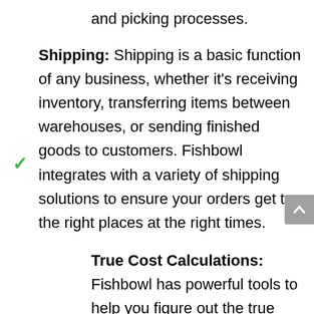and picking processes.
Shipping: Shipping is a basic function of any business, whether it's receiving inventory, transferring items between warehouses, or sending finished goods to customers. Fishbowl integrates with a variety of shipping solutions to ensure your orders get to the right places at the right times.
True Cost Calculations: Fishbowl has powerful tools to help you figure out the true cost of goods sold. If you want, you